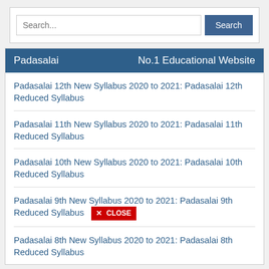[Figure (screenshot): Search bar with text input field labeled 'Search...' and a dark blue 'Search' button]
Padasalai   No.1 Educational Website
Padasalai 12th New Syllabus 2020 to 2021: Padasalai 12th Reduced Syllabus
Padasalai 11th New Syllabus 2020 to 2021: Padasalai 11th Reduced Syllabus
Padasalai 10th New Syllabus 2020 to 2021: Padasalai 10th Reduced Syllabus
Padasalai 9th New Syllabus 2020 to 2021: Padasalai 9th Reduced Syllabus [CLOSE button]
Padasalai 8th New Syllabus 2020 to 2021: Padasalai 8th Reduced Syllabus
Popular Posts